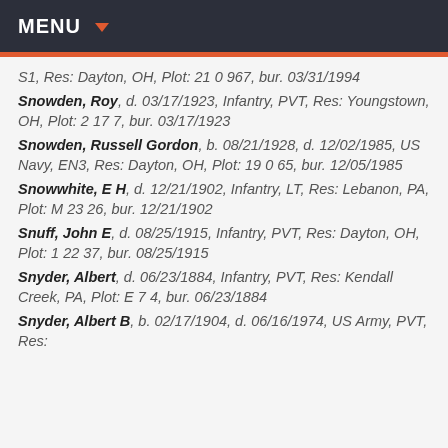MENU
S1, Res: Dayton, OH, Plot: 21 0 967, bur. 03/31/1994
Snowden, Roy, d. 03/17/1923, Infantry, PVT, Res: Youngstown, OH, Plot: 2 17 7, bur. 03/17/1923
Snowden, Russell Gordon, b. 08/21/1928, d. 12/02/1985, US Navy, EN3, Res: Dayton, OH, Plot: 19 0 65, bur. 12/05/1985
Snowwhite, E H, d. 12/21/1902, Infantry, LT, Res: Lebanon, PA, Plot: M 23 26, bur. 12/21/1902
Snuff, John E, d. 08/25/1915, Infantry, PVT, Res: Dayton, OH, Plot: 1 22 37, bur. 08/25/1915
Snyder, Albert, d. 06/23/1884, Infantry, PVT, Res: Kendall Creek, PA, Plot: E 7 4, bur. 06/23/1884
Snyder, Albert B, b. 02/17/1904, d. 06/16/1974, US Army, PVT, Res: